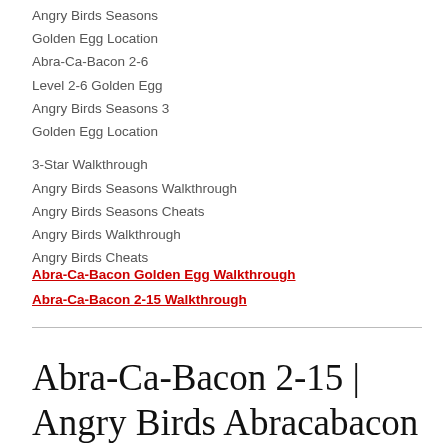Angry Birds Seasons
Golden Egg Location
Abra-Ca-Bacon 2-6
Level 2-6 Golden Egg
Angry Birds Seasons 3
Golden Egg Location
3-Star Walkthrough
Angry Birds Seasons Walkthrough
Angry Birds Seasons Cheats
Angry Birds Walkthrough
Angry Birds Cheats
Abra-Ca-Bacon Golden Egg Walkthrough
Abra-Ca-Bacon 2-15 Walkthrough
Abra-Ca-Bacon 2-15 | Angry Birds Abracabacon Level 2-15 | 3 Star